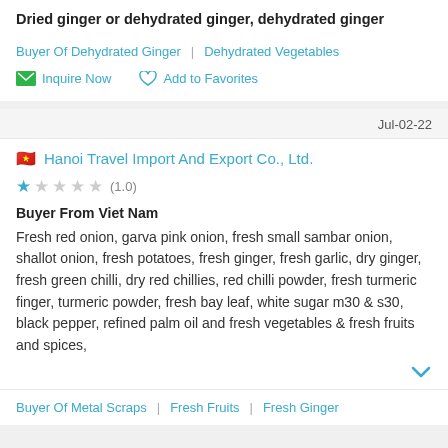Dried ginger or dehydrated ginger, dehydrated ginger
Buyer Of Dehydrated Ginger | Dehydrated Vegetables
Inquire Now   Add to Favorites
Jul-02-22
Hanoi Travel Import And Export Co., Ltd.
★☆☆☆☆ (1.0)
Buyer From Viet Nam
Fresh red onion, garva pink onion, fresh small sambar onion, shallot onion, fresh potatoes, fresh ginger, fresh garlic, dry ginger, fresh green chilli, dry red chillies, red chilli powder, fresh turmeric finger, turmeric powder, fresh bay leaf, white sugar m30 & s30, black pepper, refined palm oil and fresh vegetables & fresh fruits and spices,
Buyer Of Metal Scraps | Fresh Fruits | Fresh Ginger